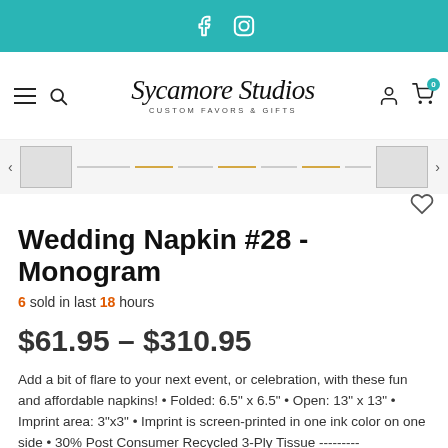f  [Instagram icon]
[Figure (logo): Sycamore Studios - Custom Favors & Gifts logo with navigation icons (hamburger menu, search, user, cart with badge '0')]
[Figure (other): Product thumbnail strip with one main thumbnail box, dashed/line separators, left and right arrows, and a heart/wishlist icon]
Wedding Napkin #28 - Monogram
6 sold in last 18 hours
$61.95 – $310.95
Add a bit of flare to your next event, or celebration, with these fun and affordable napkins! • Folded: 6.5" x 6.5" • Open: 13" x 13" • Imprint area: 3"x3" • Imprint is screen-printed in one ink color on one side • 30% Post Consumer Recycled 3-Ply Tissue ---------